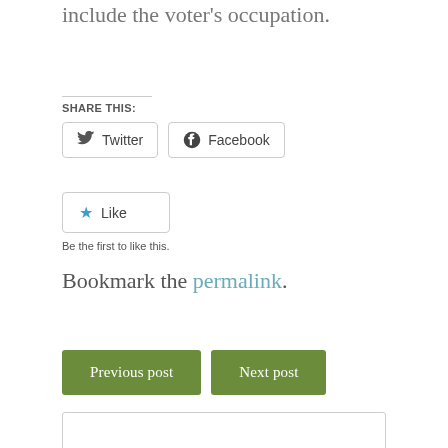include the voter's occupation.
SHARE THIS:
[Figure (other): Twitter and Facebook share buttons]
[Figure (other): Like button with star icon and caption 'Be the first to like this.']
Bookmark the permalink.
Previous post
Next post